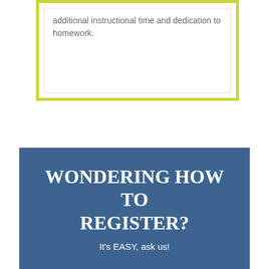additional instructional time and dedication to homework.
WONDERING HOW TO REGISTER?
It's EASY, ask us!